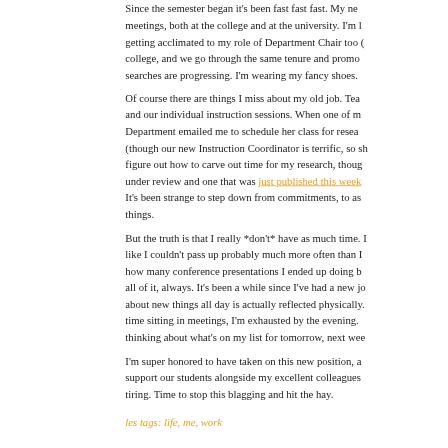Since the semester began it's been fast fast fast. My ne meetings, both at the college and at the university. I'm getting acclimated to my role of Department Chair too ( college, and we go through the same tenure and promo searches are progressing. I'm wearing my fancy shoes.
Of course there are things I miss about my old job. Tea and our individual instruction sessions. When one of m Department emailed me to schedule her class for resea (though our new Instruction Coordinator is terrific, so sh figure out how to carve out time for my research, thoug under review and one that was just published this week. It's been strange to step down from commitments, to as things.
But the truth is that I really *don't* have as much time. like I couldn't pass up probably much more often than how many conference presentations I ended up doing all of it, always. It's been a while since I've had a new j about new things all day is actually reflected physically. time sitting in meetings, I'm exhausted by the evening. thinking about what's on my list for tomorrow, next wee
I'm super honored to have taken on this new position, a support our students alongside my excellent colleagues tiring. Time to stop this blagging and hit the hay.
les tags: life, me, work